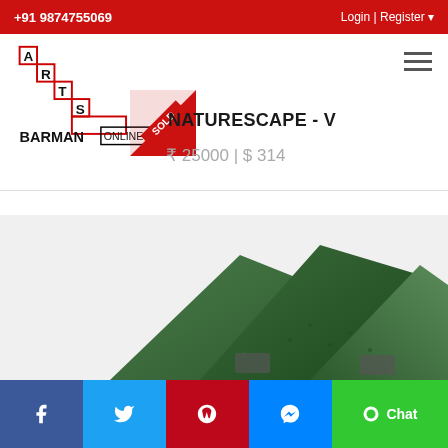+91 9874755069   Login | Register
[Figure (logo): Arts Barman Online staircase logo with red and black text]
NATURESCAPE - V
₹ 25000 | $ 314
[Figure (illustration): SOLD diagonal red ribbon badge overlaid on product thumbnail]
[Figure (photo): Close-up photo of green textured artwork pieces, NATURESCAPE - V]
Facebook | Twitter | Pinterest | Messenger | Chat